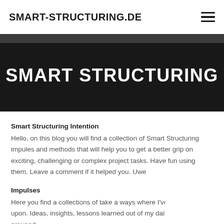SMART-STRUCTURING.DE
SMART STRUCTURING
Smart Structuring Intention
Hello, on this blog you will find a collection of Smart Structuring impules and methods that will help you to get a better grip on exciting, challenging or complex project tasks. Have fun using them. Leave a comment if it helped you. Uwe
Impulses
Here you find a collections of take a ways where I've stumbled upon. Ideas, insights, lessons learned out of my daily work – just grouped